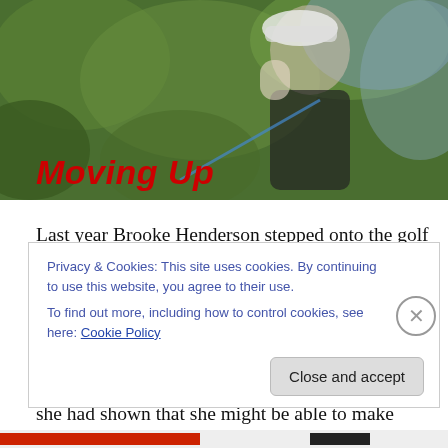[Figure (photo): Golfer Brooke Henderson mid-swing, wearing a Ping cap and dark jacket, with green blurred background. Red italic bold text 'Moving Up' overlaid at bottom left.]
Last year Brooke Henderson stepped onto the golf scene as someone to watch on the LPGA Tour. She became one of the young stars after winning multiple awards and for Canadian golf, she seemed like she could be the biggest star since Mike Weir. It was all about potential in 2015 as she had shown that she might be able to make some
Privacy & Cookies: This site uses cookies. By continuing to use this website, you agree to their use.
To find out more, including how to control cookies, see here: Cookie Policy
Close and accept